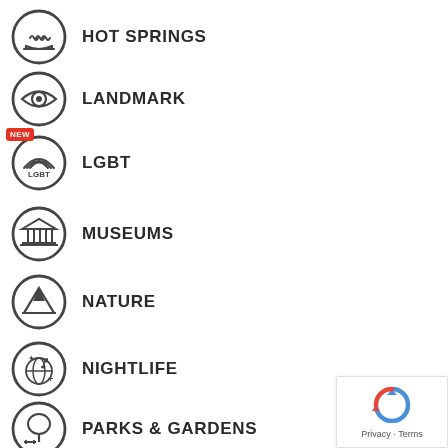HOT SPRINGS
LANDMARK
LGBT
MUSEUMS
NATURE
NIGHTLIFE
PARKS & GARDENS
[Figure (logo): Google reCAPTCHA logo with Privacy and Terms text]